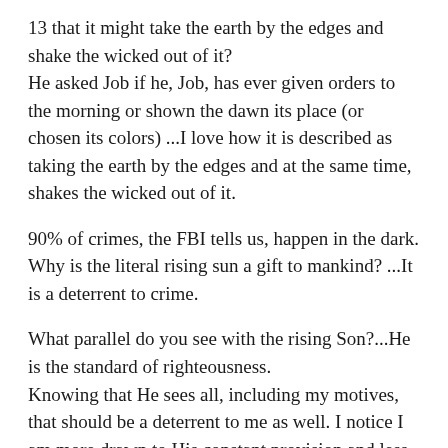13 that it might take the earth by the edges and shake the wicked out of it?
He asked Job if he, Job, has ever given orders to the morning or shown the dawn its place (or chosen its colors) ...I love how it is described as taking the earth by the edges and at the same time, shakes the wicked out of it.
90% of crimes, the FBI tells us, happen in the dark. Why is the literal rising sun a gift to mankind? ...It is a deterrent to crime.
What parallel do you see with the rising Son?...He is the standard of righteousness.
Knowing that He sees all, including my motives, that should be a deterrent to me as well. I notice I am more drawn to His constant provision and less to thinking about